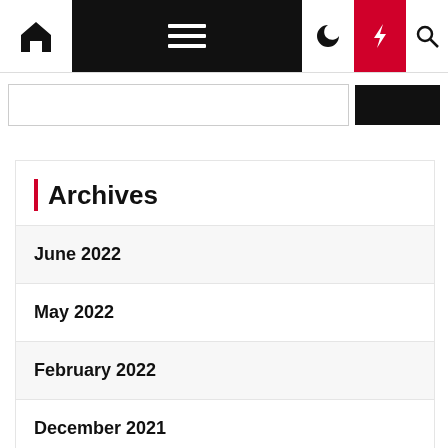[Figure (screenshot): Website navigation bar with home icon, hamburger menu on black background, moon icon, lightning bolt icon on red background, and search icon]
Archives
June 2022
May 2022
February 2022
December 2021
November 2021
September 2021
August 2021